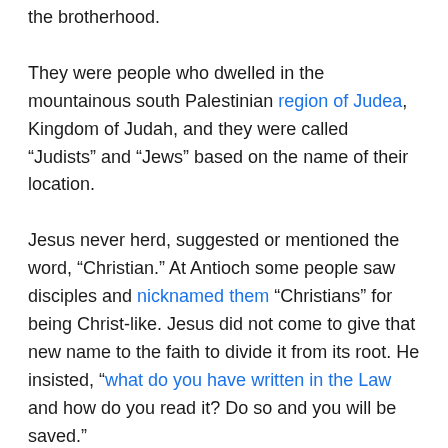the brotherhood.
They were people who dwelled in the mountainous south Palestinian region of Judea, Kingdom of Judah, and they were called “Judists” and “Jews” based on the name of their location.
Jesus never herd, suggested or mentioned the word, “Christian.” At Antioch some people saw disciples and nicknamed them “Christians” for being Christ-like. Jesus did not come to give that new name to the faith to divide it from its root. He insisted, “what do you have written in the Law and how do you read it? Do so and you will be saved.”
They felt they should distinguish themselves from others they felt were different and some people nicknamed them “Sunni” to classify them based on their belief they strictly followed the “Sunnah.” But “Sunni Muslim” was not in any